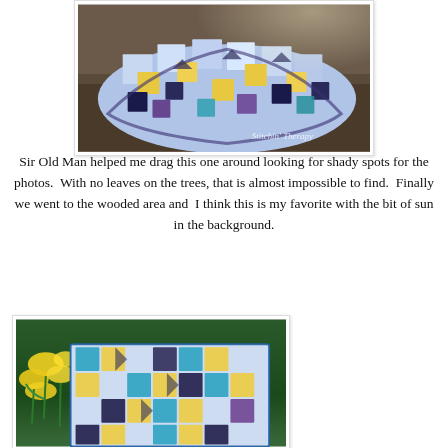[Figure (photo): A colorful patchwork quilt with blue, yellow, purple, and teal fabric patches spread out on the ground in a wooded area with sunlight in the background. Watermark reads 'Stitchin' Therapy'.]
Sir Old Man helped me drag this one around looking for shady spots for the photos.  With no leaves on the trees, that is almost impossible to find.  Finally we went to the wooded area and  I think this is my favorite with the bit of sun in the background.
[Figure (photo): A close-up of a colorful patchwork quilt with blue, teal, yellow, and purple fabric patches, displayed outdoors near yellow daffodil flowers and green foliage.]